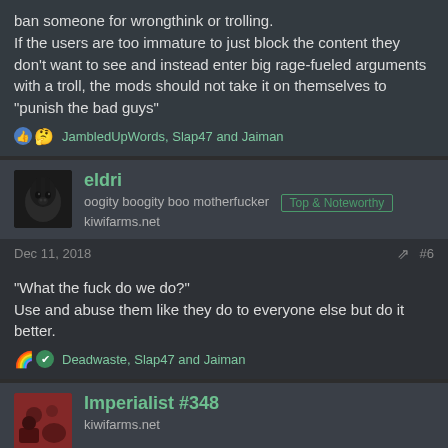ban someone for wrongthink or trolling. If the users are too immature to just block the content they don't want to see and instead enter big rage-fueled arguments with a troll, the mods should not take it on themselves to "punish the bad guys"
JambledUpWords, Slap47 and Jaiman
eldri
oogity boogity boo motherfucker [Top & Noteworthy]
kiwifarms.net
Dec 11, 2018 #6
"What the fuck do we do?"
Use and abuse them like they do to everyone else but do it better.
Deadwaste, Slap47 and Jaiman
Imperialist #348
kiwifarms.net